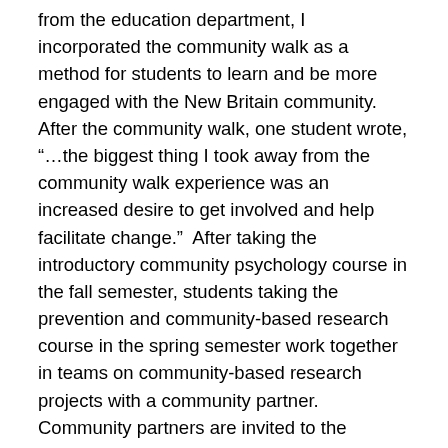from the education department, I incorporated the community walk as a method for students to learn and be more engaged with the New Britain community. After the community walk, one student wrote, “…the biggest thing I took away from the community walk experience was an increased desire to get involved and help facilitate change.”  After taking the introductory community psychology course in the fall semester, students taking the prevention and community-based research course in the spring semester work together in teams on community-based research projects with a community partner. Community partners are invited to the classrooms to share their background and experience throughout the semester to provide both context and consultation for the projects, and then are invited back at the end of the semester to see the student presentations. This interaction with community partners has proven to be a motivating experience and students comment again and again about how they feel they are contributing to something of high value and importance for the community members that will actually be utilized.  Both the evaluation research and global